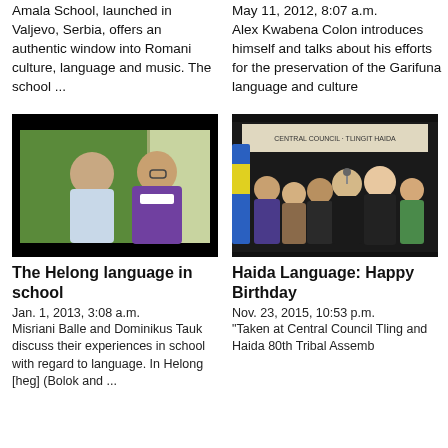Amala School, launched in Valjevo, Serbia, offers an authentic window into Romani culture, language and music. The school ...
May 11, 2012, 8:07 a.m. Alex Kwabena Colon introduces himself and talks about his efforts for the preservation of the Garifuna language and culture
[Figure (photo): Two people in a classroom, man on left looking at woman on right wearing purple cardigan, green wall background]
[Figure (photo): Group of people standing on stage at Central Council Tlingit and Haida 80th Tribal Assembly event]
The Helong language in school
Haida Language: Happy Birthday
Jan. 1, 2013, 3:08 a.m.
Misriani Balle and Dominikus Tauk discuss their experiences in school with regard to language. In Helong [heg] (Bolok and ...
Nov. 23, 2015, 10:53 p.m.
"Taken at Central Council Tling and Haida 80th Tribal Assemb